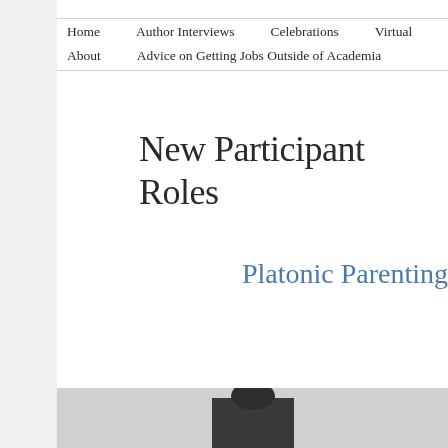Home   Author Interviews   Celebrations   Virtual   About   Advice on Getting Jobs Outside of Academia
New Participant Roles
Platonic Parenting
[Figure (photo): Partial photo of a person in dark clothing, cropped at bottom of page]